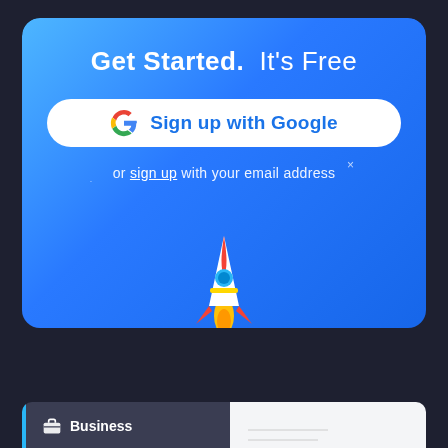[Figure (screenshot): Sign-up card with blue gradient background, 'Get Started. It's Free' title, Google sign-up button, 'or sign up with your email address' text, and a rocket illustration with clouds]
Get Started. It's Free
Sign up with Google
or sign up with your email address
Similar Mind Maps
Mind Map Outline
[Figure (screenshot): Business mind map card showing 'Blue Print Kajabi Flight A...' with a briefcase icon, category label Business, and a mind map diagram preview on the right side]